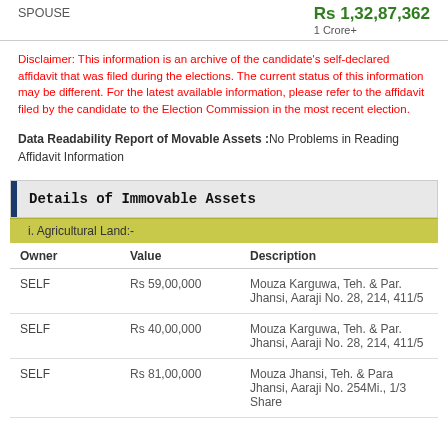SPOUSE   Rs 1,32,87,362   1 Crore+
Disclaimer: This information is an archive of the candidate's self-declared affidavit that was filed during the elections. The current status of this information may be different. For the latest available information, please refer to the affidavit filed by the candidate to the Election Commission in the most recent election.
Data Readability Report of Movable Assets :No Problems in Reading Affidavit Information
Details of Immovable Assets
i. Agricultural Land:-
| Owner | Value | Description |
| --- | --- | --- |
| SELF | Rs 59,00,000 | Mouza Karguwa, Teh. & Par. Jhansi, Aaraji No. 28, 214, 411/5 |
| SELF | Rs 40,00,000 | Mouza Karguwa, Teh. & Par. Jhansi, Aaraji No. 28, 214, 411/5 |
| SELF | Rs 81,00,000 | Mouza Jhansi, Teh. & Para Jhansi, Aaraji No. 254Mi., 1/3 Share |